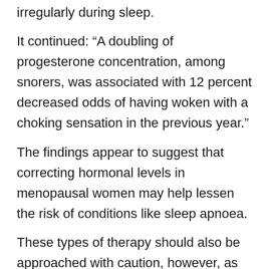irregularly during sleep.
It continued: “A doubling of progesterone concentration, among snorers, was associated with 12 percent decreased odds of having woken with a choking sensation in the previous year.”
The findings appear to suggest that correcting hormonal levels in menopausal women may help lessen the risk of conditions like sleep apnoea.
These types of therapy should also be approached with caution, however, as there may be cardiovascular risks attached to certain hormonal medications.